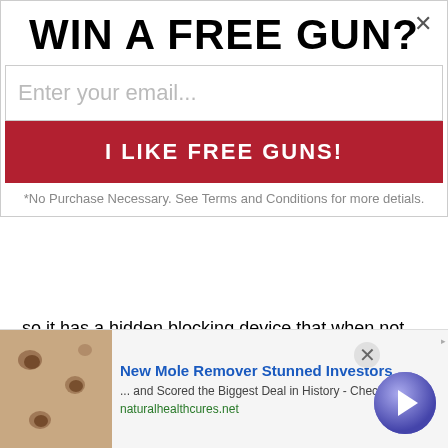WIN A FREE GUN?
Enter your email...
I LIKE FREE GUNS!
*No Purchase Necessary. See Terms and Conditions for more detials.
so it has a hidden blocking device that when not activated and you try to push the cover, it will just seem like a fixed plate. (well call that "locked") Released, it will work normally.
In Florida a gun only needs to be in a closed area, not a locked one.
With just some double sided industrial strength Velcro on the side, well, it will...
[Figure (infographic): Advertisement banner: New Mole Remover Stunned Investors - naturalhealthcures.net]